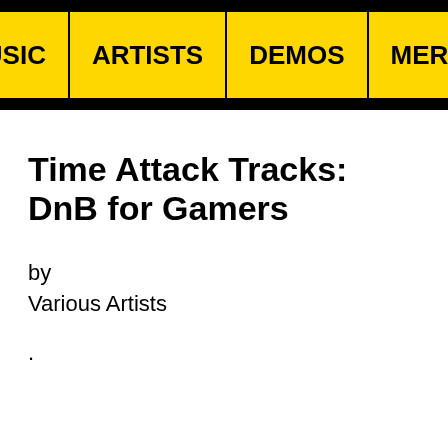MUSIC | ARTISTS | DEMOS | MERCH
Time Attack Tracks: DnB for Gamers
by
Various Artists
.